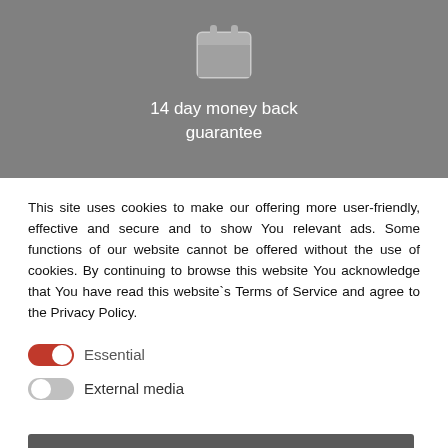[Figure (illustration): Gray banner with a calendar icon and text '14 day money back guarantee' in white]
This site uses cookies to make our offering more user-friendly, effective and secure and to show You relevant ads. Some functions of our website cannot be offered without the use of cookies. By continuing to browse this website You acknowledge that You have read this website`s Terms of Service and agree to the Privacy Policy.
Essential (toggle on, red)
External media (toggle off, gray)
I agree
Save